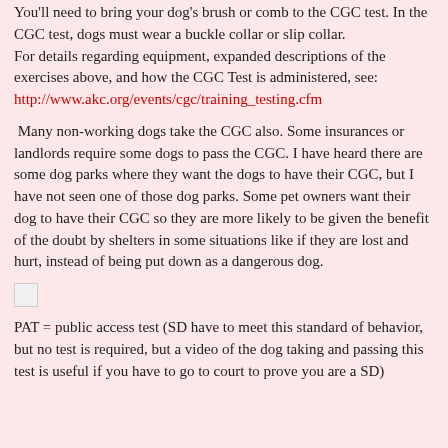You'll need to bring your dog's brush or comb to the CGC test. In the CGC test, dogs must wear a buckle collar or slip collar. For details regarding equipment, expanded descriptions of the exercises above, and how the CGC Test is administered, see: http://www.akc.org/events/cgc/training_testing.cfm
Many non-working dogs take the CGC also. Some insurances or landlords require some dogs to pass the CGC. I have heard there are some dog parks where they want the dogs to have their CGC, but I have not seen one of those dog parks. Some pet owners want their dog to have their CGC so they are more likely to be given the benefit of the doubt by shelters in some situations like if they are lost and hurt, instead of being put down as a dangerous dog.
[Figure (other): Small white/light gray square checkbox or image placeholder]
PAT = public access test (SD have to meet this standard of behavior, but no test is required, but a video of the dog taking and passing this test is useful if you have to go to court to prove you are a SD)